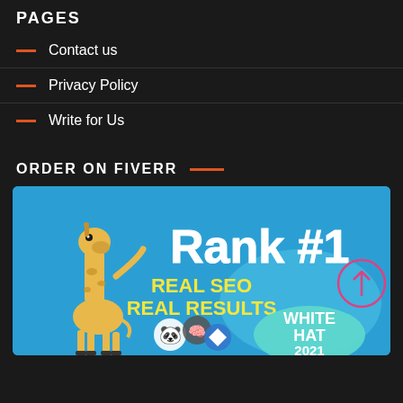PAGES
Contact us
Privacy Policy
Write for Us
ORDER ON FIVERR
[Figure (illustration): Fiverr promotional banner with animated giraffe character, text 'Rank #1 REAL SEO REAL RESULTS WHITE HAT 2021', panda and other icons on blue background with pink circle arrow]